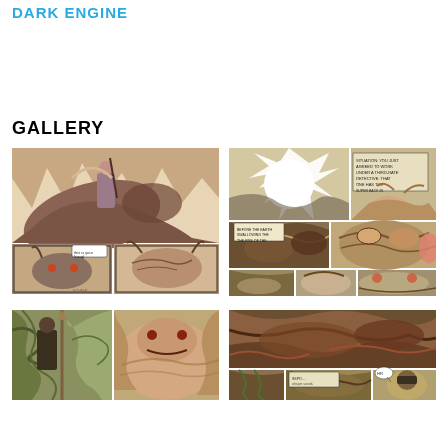DARK ENGINE
GALLERY
[Figure (illustration): Comic book page spread showing a warrior figure with a weapon perched on a large creature, with smaller panels below showing a horned creature and dialogue.]
[Figure (illustration): Comic book page showing multiple panels with creature battles and dialogue boxes with text.]
[Figure (illustration): Comic book page panels showing a character with foliage and a large creature in a split panel layout.]
[Figure (illustration): Comic book page showing panels with dark, visceral creature imagery and a character with dialogue.]